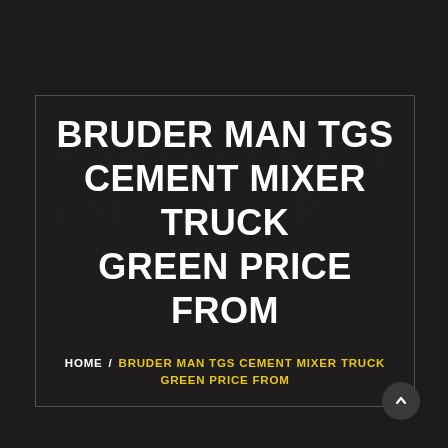BRUDER MAN TGS CEMENT MIXER TRUCK GREEN PRICE FROM
HOME / BRUDER MAN TGS CEMENT MIXER TRUCK GREEN PRICE FROM